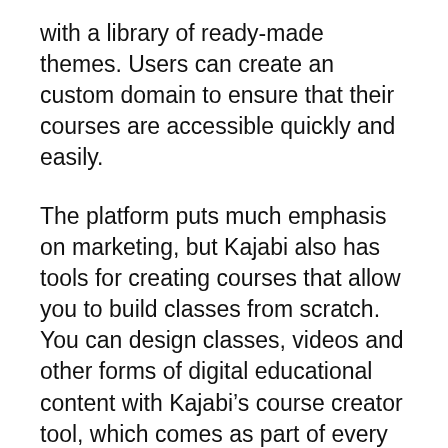with a library of ready-made themes. Users can create an custom domain to ensure that their courses are accessible quickly and easily.
The platform puts much emphasis on marketing, but Kajabi also has tools for creating courses that allow you to build classes from scratch. You can design classes, videos and other forms of digital educational content with Kajabi's course creator tool, which comes as part of every Kajabi plan.
The course selling business can be even more efficient thanks to the lead generation and launch tools provided by Kajabi. Effective automation takes the guesswork out of marketing campaigns.